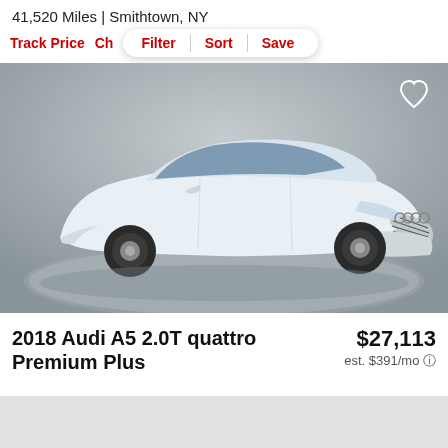41,520 Miles | Smithtown, NY
Track Price  Ch  Filter  Sort  Save
[Figure (photo): White 2018 Audi A5 2.0T quattro Premium Plus sedan on a circular platform against a gray background]
2018 Audi A5 2.0T quattro Premium Plus    $27,113   est. $391/mo.